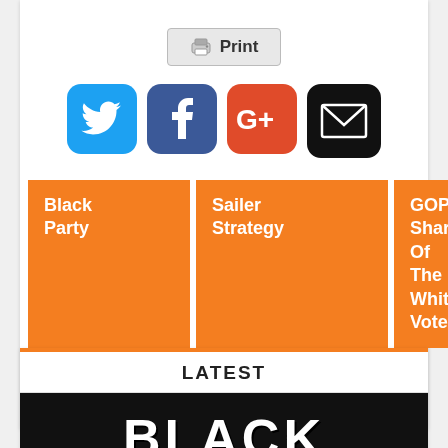[Figure (screenshot): Print button with printer icon]
[Figure (infographic): Social share icons: Twitter (blue bird), Facebook (blue f), Google+ (orange G+), Email (black envelope)]
Black Party
Sailer Strategy
GOP Share Of The White Vote
<< Previous
Next >>
LATEST
[Figure (photo): Black background with large white bold text reading BLACK, with bullet/projectile decorations at bottom corners]